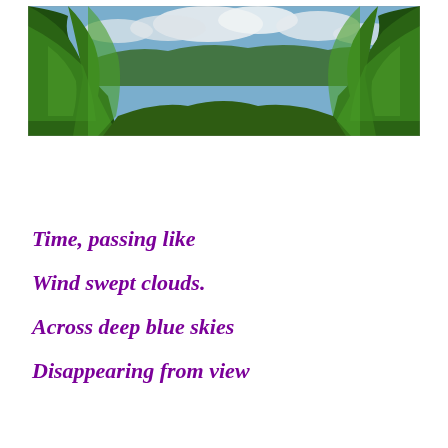[Figure (photo): Photograph of a forest path or clearing viewed from below, with dense green leafy trees on both sides framing a corridor of sky with clouds, and rolling green hills visible in the background.]
Time, passing like

Wind swept clouds.

Across deep blue skies

Disappearing from view